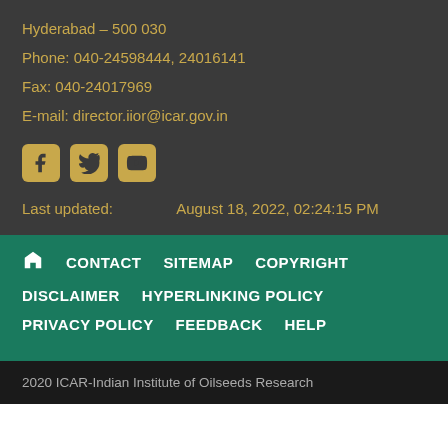Hyderabad – 500 030
Phone: 040-24598444, 24016141
Fax: 040-24017969
E-mail: director.iior@icar.gov.in
[Figure (other): Social media icons: Facebook, Twitter, YouTube]
Last updated:        August 18, 2022, 02:24:15 PM
Home  CONTACT  SITEMAP  COPYRIGHT  DISCLAIMER  HYPERLINKING POLICY  PRIVACY POLICY  FEEDBACK  HELP
2020 ICAR-Indian Institute of Oilseeds Research